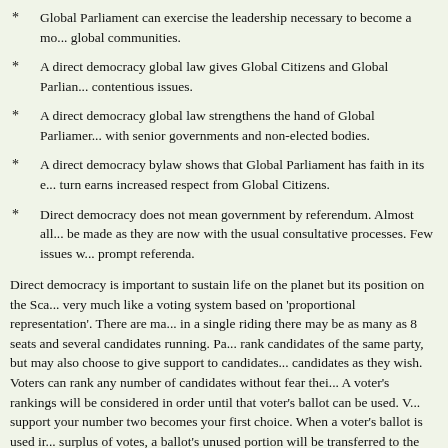Global Parliament can exercise the leadership necessary to become a mo... global communities.
A direct democracy global law gives Global Citizens and Global Parlian... contentious issues.
A direct democracy global law strengthens the hand of Global Parliamer... with senior governments and non-elected bodies.
A direct democracy bylaw shows that Global Parliament has faith in its e... turn earns increased respect from Global Citizens.
Direct democracy does not mean government by referendum. Almost all... be made as they are now with the usual consultative processes. Few issues w... prompt referenda.
Direct democracy is important to sustain life on the planet but its position on the Sca... very much like a voting system based on 'proportional representation'. There are ma... in a single riding there may be as many as 8 seats and several candidates running. Pa... rank candidates of the same party, but may also choose to give support to candidates... candidates as they wish. Voters can rank any number of candidates without fear thei... A voter's rankings will be considered in order until that voter's ballot can be used. V... support your number two becomes your first choice. When a voter's ballot is used ir... surplus of votes, a ballot's unused portion will be transferred to the voter's next cho... will count, little fear of wasting one's vote, no fear of vote splitting. No need to supp... of helping elect those you like even less. You can vote authentically. This is freedom... work. This voting system empowers voters more than parties because votes are for c...